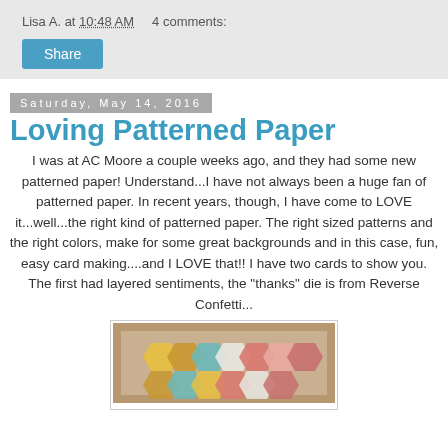Lisa A. at 10:48 AM    4 comments:
Share
Saturday, May 14, 2016
Loving Patterned Paper
I was at AC Moore a couple weeks ago, and they had some new patterned paper!  Understand...I have not always been a huge fan of patterned paper.  In recent years, though, I have come to LOVE it...well...the right kind of patterned paper.  The right sized patterns and the right colors, make for some great backgrounds and in this case,  fun, easy card making....and I LOVE that!!  I have two cards to show you.  The first had layered sentiments, the "thanks" die is from Reverse Confetti...
[Figure (photo): Photo of a card with hexagon patterned paper in yellow, pink, teal, and white on a brown kraft background]